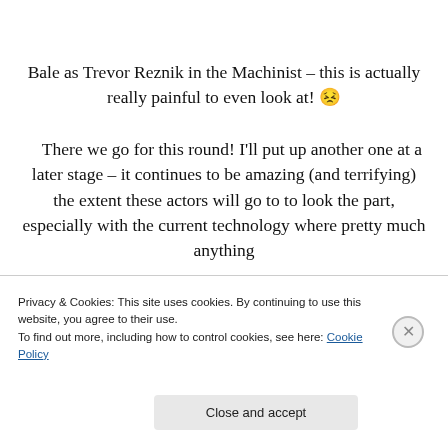Bale as Trevor Reznik in the Machinist – this is actually really painful to even look at! 😕
There we go for this round! I'll put up another one at a later stage – it continues to be amazing (and terrifying) the extent these actors will go to to look the part, especially with the current technology where pretty much anything
Privacy & Cookies: This site uses cookies. By continuing to use this website, you agree to their use.
To find out more, including how to control cookies, see here: Cookie Policy